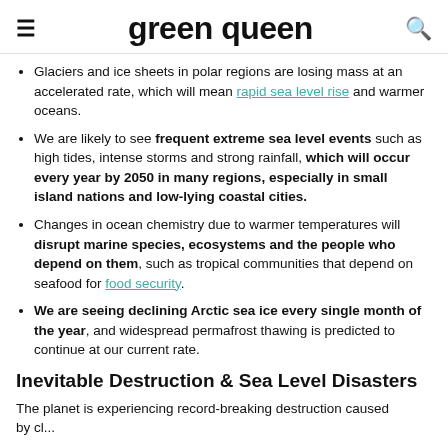green queen
Glaciers and ice sheets in polar regions are losing mass at an accelerated rate, which will mean rapid sea level rise and warmer oceans.
We are likely to see frequent extreme sea level events such as high tides, intense storms and strong rainfall, which will occur every year by 2050 in many regions, especially in small island nations and low-lying coastal cities.
Changes in ocean chemistry due to warmer temperatures will disrupt marine species, ecosystems and the people who depend on them, such as tropical communities that depend on seafood for food security.
We are seeing declining Arctic sea ice every single month of the year, and widespread permafrost thawing is predicted to continue at our current rate.
Inevitable Destruction & Sea Level Disasters
The planet is experiencing record-breaking destruction caused by cl...